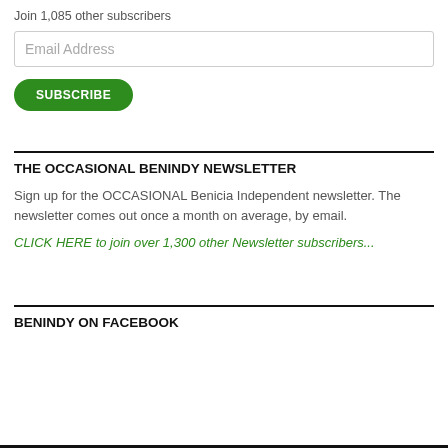Join 1,085 other subscribers
Email Address
SUBSCRIBE
THE OCCASIONAL BENINDY NEWSLETTER
Sign up for the OCCASIONAL Benicia Independent newsletter.  The newsletter comes out once a month on average, by email.
CLICK HERE to join over 1,300 other Newsletter subscribers...
BENINDY ON FACEBOOK